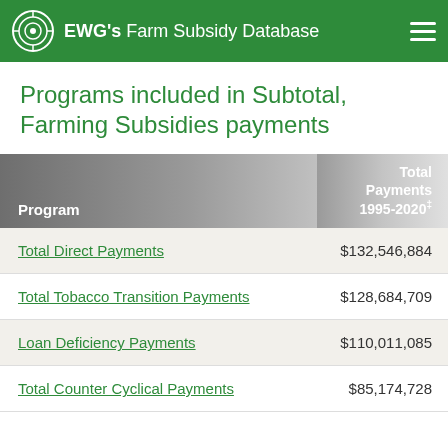EWG's Farm Subsidy Database
Programs included in Subtotal, Farming Subsidies payments
| Program | Total Payments 1995-2020‡ |
| --- | --- |
| Total Direct Payments | $132,546,884 |
| Total Tobacco Transition Payments | $128,684,709 |
| Loan Deficiency Payments | $110,011,085 |
| Total Counter Cyclical Payments | $85,174,728 |